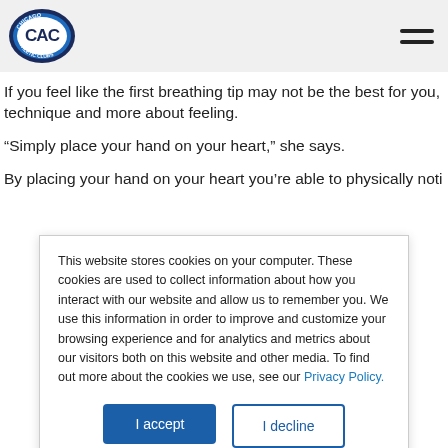Chicago Athletic Clubs (CAC) logo and navigation menu
If you feel like the first breathing tip may not be the best for you, technique and more about feeling.
“Simply place your hand on your heart,” she says.
By placing your hand on your heart you’re able to physically noti…
This website stores cookies on your computer. These cookies are used to collect information about how you interact with our website and allow us to remember you. We use this information in order to improve and customize your browsing experience and for analytics and metrics about our visitors both on this website and other media. To find out more about the cookies we use, see our Privacy Policy.
I accept
I decline